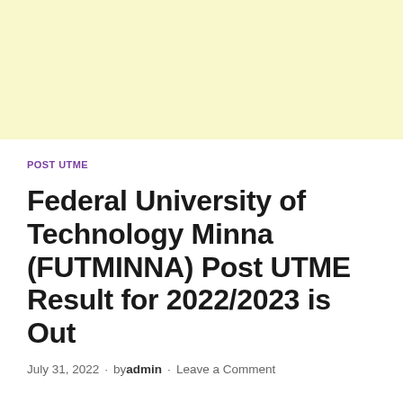[Figure (other): Light yellow banner/advertisement area at the top of the page]
POST UTME
Federal University of Technology Minna (FUTMINNA) Post UTME Result for 2022/2023 is Out
July 31, 2022  ·  by admin  ·  Leave a Comment